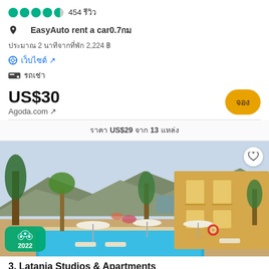454 รีวิว
📍 EasyAuto rent a car 0.7 กม
ประมาณ 2 นาทีจากที่พัก 2,224 ฿
เว็บไซต์ ↗
รถเช่า
US$30
Agoda.com ↗
จอง
ราคา US$29 จาก 13 แหล่ง
[Figure (photo): Hotel pool area with palm trees, umbrellas, and mountain backdrop. TripAdvisor 2022 badge visible.]
3. Latania Studios & Apartments